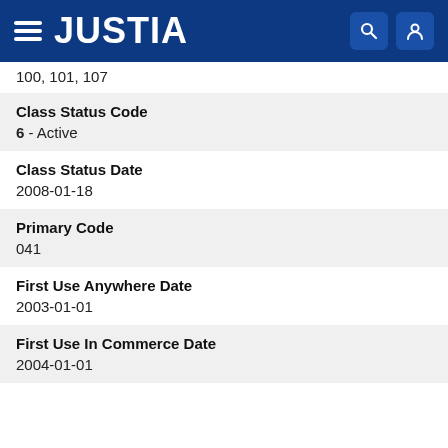JUSTIA
100, 101, 107
Class Status Code
6 - Active
Class Status Date
2008-01-18
Primary Code
041
First Use Anywhere Date
2003-01-01
First Use In Commerce Date
2004-01-01